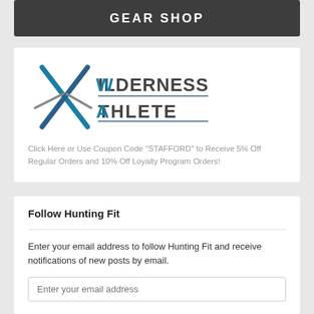[Figure (other): Dark gray banner with GEAR SHOP text in white bold capitals]
[Figure (logo): Wilderness Athlete logo with crossed arrows/X and text WILDERNESS ATHLETE in blue and dark gray]
Click Here or Use Coupon Code "STAFFORD" to Receive 5% Off Regular Orders and 10% Off Loyalty Program Orders!
Follow Hunting Fit
Enter your email address to follow Hunting Fit and receive notifications of new posts by email.